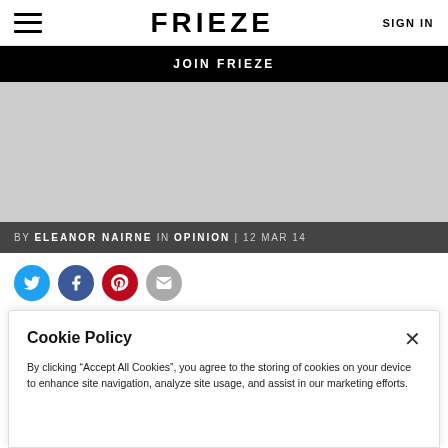FRIEZE | SIGN IN
JOIN FRIEZE
[Figure (photo): Gray image placeholder area]
BY ELEANOR NAIRNE IN OPINION | 12 MAR 14
[Figure (infographic): Social sharing icons: Twitter, Facebook, Pinterest, Email]
Cookie Policy
By clicking "Accept All Cookies", you agree to the storing of cookies on your device to enhance site navigation, analyze site usage, and assist in our marketing efforts.